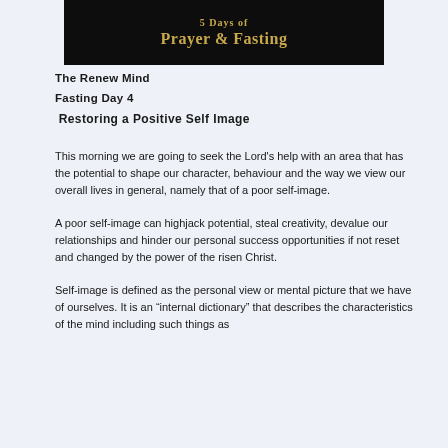[Figure (illustration): Black banner with gold/tan text reading '5 Days of Prayer & Fasting']
The Renew Mind
Fasting Day 4
Restoring a Positive Self Image
This morning we are going to seek the Lord's help with an area that has the potential to shape our character, behaviour and the way we view our overall lives in general, namely that of a poor self-image.
A poor self-image can highjack potential, steal creativity, devalue our relationships and hinder our personal success opportunities if not reset and changed by the power of the risen Christ.
Self-image is defined as the personal view or mental picture that we have of ourselves. It is an “internal dictionary” that describes the characteristics of the mind including such things as